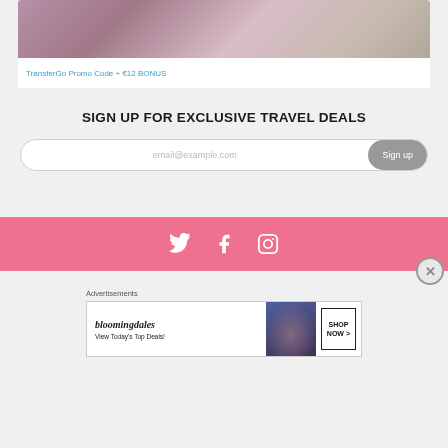[Figure (photo): Woman with laptop and smartphone, promotional image for TransferGo]
TransferGo Promo Code + €12 BONUS
SIGN UP FOR EXCLUSIVE TRAVEL DEALS
[Figure (screenshot): Email signup form with email@example.com placeholder and Sign up button]
[Figure (infographic): Pink social media bar with Twitter, Facebook, and Instagram icons]
Advertisements
[Figure (screenshot): Bloomingdale's advertisement: View Today's Top Deals! SHOP NOW >]